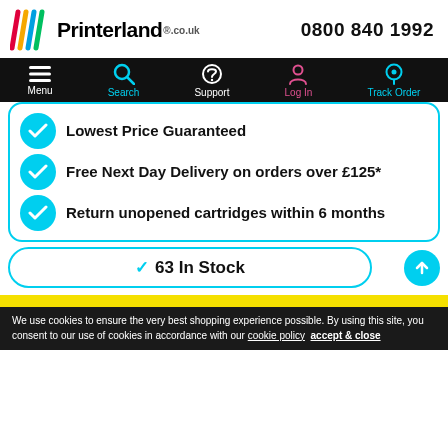Printerland.co.uk | 0800 840 1992
[Figure (screenshot): Navigation bar with Menu, Search, Support, Log In, Track Order icons on black background]
Lowest Price Guaranteed
Free Next Day Delivery on orders over £125*
Return unopened cartridges within 6 months
✓ 63 In Stock
We use cookies to ensure the very best shopping experience possible. By using this site, you consent to our use of cookies in accordance with our cookie policy  accept & close